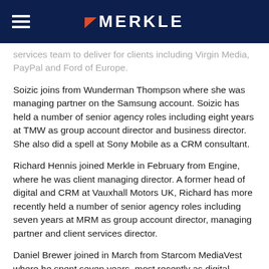MERKLE
services team to deliver for clients including Virgin Media, PayPal and Ford of Europe.
Soizic joins from Wunderman Thompson where she was managing partner on the Samsung account. Soizic has held a number of senior agency roles including eight years at TMW as group account director and business director. She also did a spell at Sony Mobile as a CRM consultant.
Richard Hennis joined Merkle in February from Engine, where he was client managing director. A former head of digital and CRM at Vauxhall Motors UK, Richard has more recently held a number of senior agency roles including seven years at MRM as group account director, managing partner and client services director.
Daniel Brewer joined in March from Starcom MediaVest where he spent seven years, most recently as digital business director. He previously worked for Stream20 as head of search and earned his from the line goes to the...